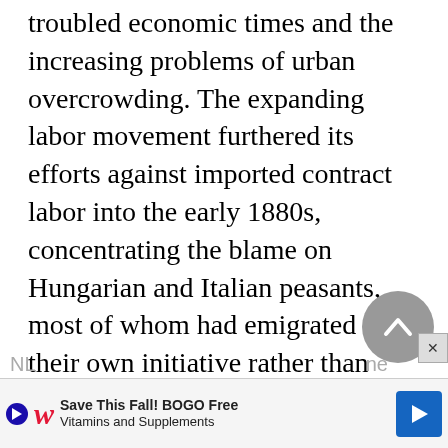troubled economic times and the increasing problems of urban overcrowding. The expanding labor movement furthered its efforts against imported contract labor into the early 1880s, concentrating the blame on Hungarian and Italian peasants, most of whom had emigrated under their own initiative rather than under a prearranged contract. The Holy Order of the Knights of Labor, founded in 1869, replaced the internally divided
NL ... ne
[Figure (other): Scroll-to-top circular button with upward chevron arrow, grey background]
[Figure (other): Advertisement banner: Walgreens - Save This Fall! BOGO Free Vitamins and Supplements]